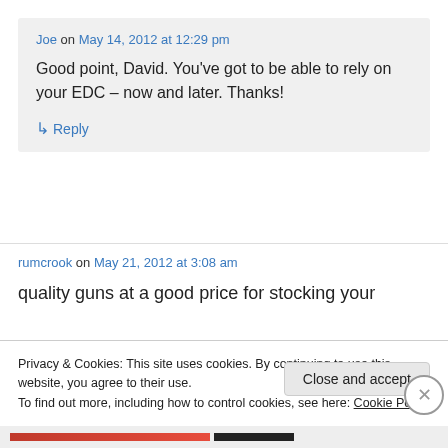Joe on May 14, 2012 at 12:29 pm
Good point, David. You've got to be able to rely on your EDC – now and later. Thanks!
↳ Reply
rumcrook on May 21, 2012 at 3:08 am
quality guns at a good price for stocking your
Privacy & Cookies: This site uses cookies. By continuing to use this website, you agree to their use.
To find out more, including how to control cookies, see here: Cookie Policy
Close and accept